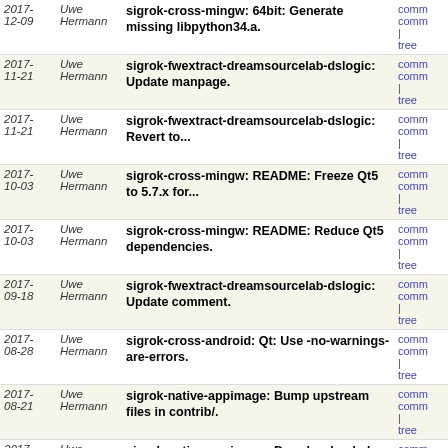| Date | Author | Message | Links |
| --- | --- | --- | --- |
| 2017-12-09 | Uwe Hermann | sigrok-cross-mingw: 64bit: Generate missing libpython34.a. | comm
comm
| tree |
| 2017-11-21 | Uwe Hermann | sigrok-fwextract-dreamsourcelab-dslogic: Update manpage. | comm
comm
| tree |
| 2017-11-21 | Uwe Hermann | sigrok-fwextract-dreamsourcelab-dslogic: Revert to... | comm
comm
| tree |
| 2017-10-03 | Uwe Hermann | sigrok-cross-mingw: README: Freeze Qt5 to 5.7.x for... | comm
comm
| tree |
| 2017-10-03 | Uwe Hermann | sigrok-cross-mingw: README: Reduce Qt5 dependencies. | comm
comm
| tree |
| 2017-09-18 | Uwe Hermann | sigrok-fwextract-dreamsourcelab-dslogic: Update comment. | comm
comm
| tree |
| 2017-08-28 | Uwe Hermann | sigrok-cross-android: Qt: Use -no-warnings-are-errors. | comm
comm
| tree |
| 2017-08-21 | Uwe Hermann | sigrok-native-appimage: Bump upstream files in contrib/. | comm
comm
| tree |
| 2017-08-21 | Uwe Hermann | sigrok-native-appimage: Drop hardcoded values, add... | comm
comm
| tree |
| 2017-08-20 | Uwe Hermann | sigrok-native-appimage: Drop some unneeded local files. | comm
comm
| tree |
| 2017-08-16 | Uwe Hermann | macosx: create_dmg: Fix comment. | comm
comm
| tree |
| 2017-08-15 | Uwe Hermann | macosx: Pass on arguments to the pulseview wrapper... | comm
comm
| tree |
| 2017-08-15 | Uwe Hermann | macosx: Set $SIGROK_FIRMWARE_DIR environment variable. | comm
comm
| tree |
| 2017- | Uwe | macosx: Add a script that creates a self- | comm |